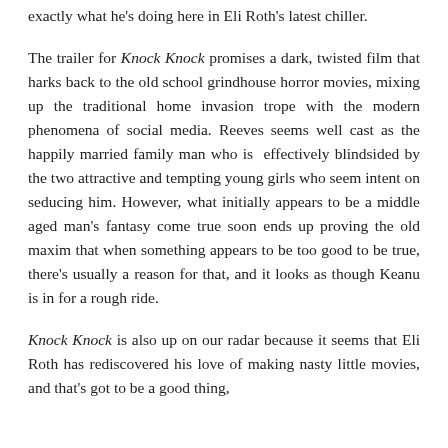exactly what he's doing here in Eli Roth's latest chiller.
The trailer for Knock Knock promises a dark, twisted film that harks back to the old school grindhouse horror movies, mixing up the traditional home invasion trope with the modern phenomena of social media. Reeves seems well cast as the happily married family man who is effectively blindsided by the two attractive and tempting young girls who seem intent on seducing him. However, what initially appears to be a middle aged man's fantasy come true soon ends up proving the old maxim that when something appears to be too good to be true, there's usually a reason for that, and it looks as though Keanu is in for a rough ride.
Knock Knock is also up on our radar because it seems that Eli Roth has rediscovered his love of making nasty little movies, and that's got to be a good thing,